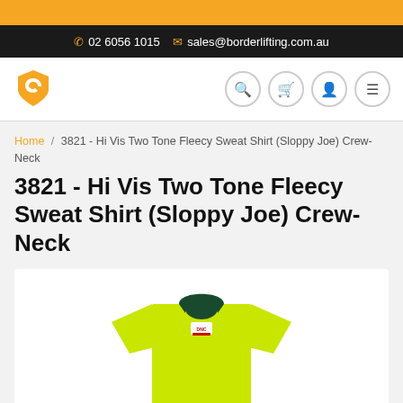02 6056 1015  sales@borderlifting.com.au
[Figure (logo): Border Lifting logo - orange shield/hook icon]
Home / 3821 - Hi Vis Two Tone Fleecy Sweat Shirt (Sloppy Joe) Crew-Neck
3821 - Hi Vis Two Tone Fleecy Sweat Shirt (Sloppy Joe) Crew-Neck
[Figure (photo): Hi Vis yellow/green crew-neck sweatshirt with dark green collar and DNC label]